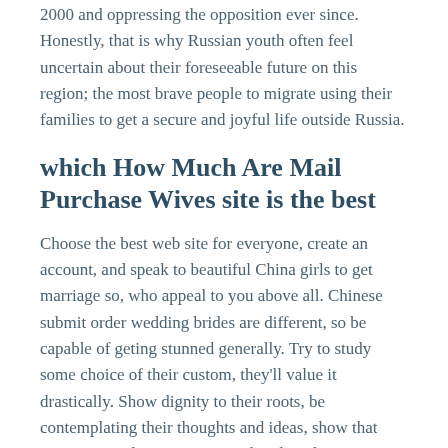2000 and oppressing the opposition ever since. Honestly, that is why Russian youth often feel uncertain about their foreseeable future on this region; the most brave people to migrate using their families to get a secure and joyful life outside Russia.
which How Much Are Mail Purchase Wives site is the best
Choose the best web site for everyone, create an account, and speak to beautiful China girls to get marriage so, who appeal to you above all. Chinese submit order wedding brides are different, so be capable of geting stunned generally. Try to study some choice of their custom, they'll value it drastically. Show dignity to their roots, be contemplating their thoughts and ideas, show that you've critical intentions. No, that they don't seem to be, but there are several rules to comply with.
What's more, they are qualified sufficient to get a